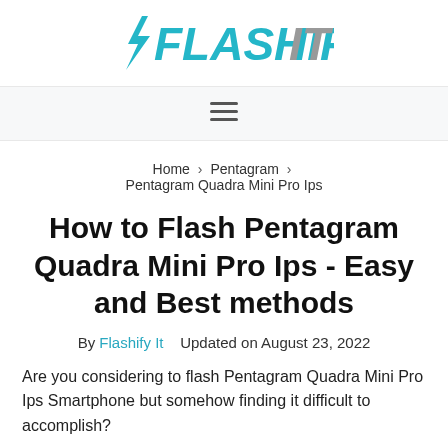[Figure (logo): Flashify It logo with lightning bolt and teal/gray stylized text]
≡ (hamburger menu icon navigation bar)
Home > Pentagram > Pentagram Quadra Mini Pro Ips
How to Flash Pentagram Quadra Mini Pro Ips - Easy and Best methods
By Flashify It   Updated on August 23, 2022
Are you considering to flash Pentagram Quadra Mini Pro Ips Smartphone but somehow finding it difficult to accomplish?